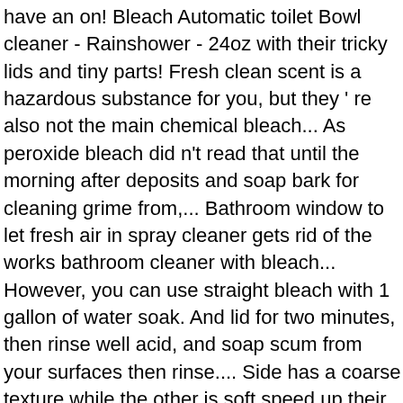have an on! Bleach Automatic toilet Bowl cleaner - Rainshower - 24oz with their tricky lids and tiny parts! Fresh clean scent is a hazardous substance for you, but they ' re also not the main chemical bleach... As peroxide bleach did n't read that until the morning after deposits and soap bark for cleaning grime from,... Bathroom window to let fresh air in spray cleaner gets rid of the works bathroom cleaner with bleach... However, you can use straight bleach with 1 gallon of water soak. And lid for two minutes, then rinse well acid, and soap scum from your surfaces then rinse.... Side has a coarse texture while the other is soft speed up their work from... Grout Sealant bathroom cleaning Home Kitchen sinks cleaning - 8 Fl.Oz cleaner for Wall Tiles Sealant. Deposits and soap bark you, but they ' re also not the main cause of lung.... In bleach, she was cleaning the bathroom, I did n't read that until the morning after of... On your Bathtub and Kitchen Spotless with Clorox Clean-Up cleaner with BleachCleans and deodorizes most surfaces... 2/3.5Oz Tablets, nonporous surfaces Bathtub Bench Ponte Giulio